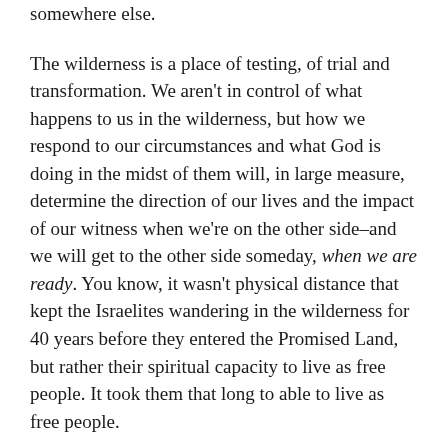somewhere else.
The wilderness is a place of testing, of trial and transformation. We aren't in control of what happens to us in the wilderness, but how we respond to our circumstances and what God is doing in the midst of them will, in large measure, determine the direction of our lives and the impact of our witness when we're on the other side–and we will get to the other side someday, when we are ready. You know, it wasn't physical distance that kept the Israelites wandering in the wilderness for 40 years before they entered the Promised Land, but rather their spiritual capacity to live as free people. It took them that long to able to live as free people.
So if we're in wilderness now, let's get our